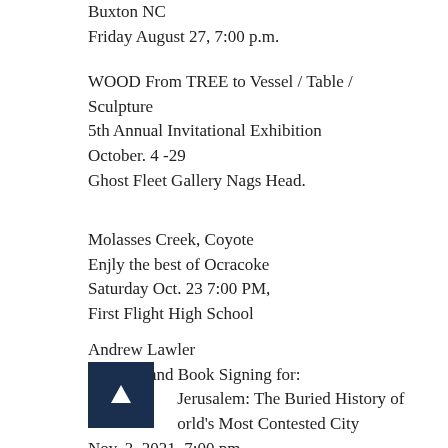Buxton NC
Friday August 27, 7:00 p.m.
WOOD From TREE to Vessel / Table / Sculpture
5th Annual Invitational Exhibition
October. 4 -29
Ghost Fleet Gallery Nags Head.
Molasses Creek, Coyote
Enjly the best of Ocracoke
Saturday Oct. 23 7:00 PM,
First Flight High School
Andrew Lawler
Reading and Book Signing for:
Jerusalem: The Buried History of
orld's Most Contested City
Nov. 3, 2021, 7:00 pm